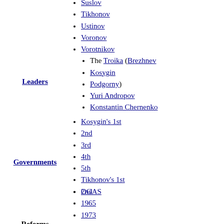Suslov
Tikhonov
Ustinov
Voronov
Vorotnikov
The Troika (Brezhnev
Kosygin
Podgorny)
Yuri Andropov
Konstantin Chernenko
Leaders
Kosygin's 1st
2nd
3rd
4th
5th
Tikhonov's 1st
2nd
Governments
Reforms
OGAS
1965
1973
1979
Food Programme
1984 Soviet economic reform
National